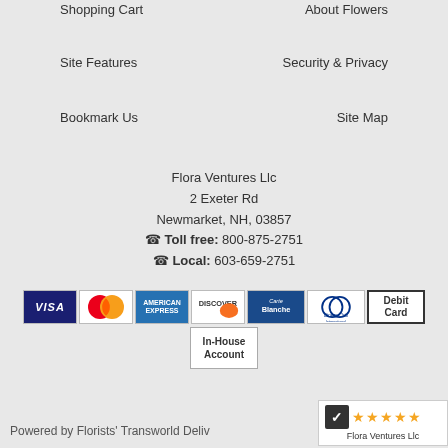Shopping Cart
About Flowers
Site Features
Security & Privacy
Bookmark Us
Site Map
Flora Ventures Llc
2 Exeter Rd
Newmarket, NH, 03857
Toll free: 800-875-2751
Local: 603-659-2751
[Figure (other): Payment method icons: Visa, MasterCard, American Express, Discover, Carte Blanche, Diners Club International, Debit Card, In-House Account]
Powered by Florists' Transworld Deliv...
[Figure (other): Rating widget showing Y! logo and 5 stars for Flora Ventures Llc]